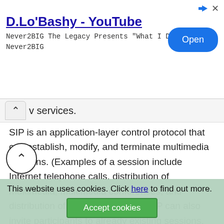[Figure (screenshot): Advertisement banner for D.Lo'Bashy YouTube video by Never2BIG, with an Open button]
v services.
SIP is an application-layer control protocol that can establish, modify, and terminate multimedia sessions. (Examples of a session include Internet telephone calls, distribution of multimedia, multimedia conferences, and distribution of computer games.) SIP can also invite participants to already existing sessions, such as a multicast conference. Media can be added to and removed from an existing session. SIP transparently supports name-mapping and redirection services, which make personal mobility possible. Users can maintain a single externally visible identifier, regardless of their ne...
SIP support five facets of establishing and terminating...
This website uses cookies. Click here to find out more. Accept cookies